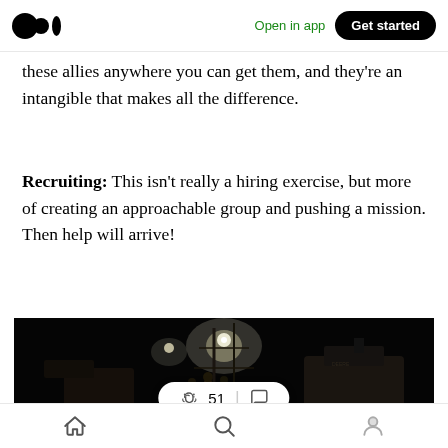Open in app  Get started
these allies anywhere you can get them, and they're an intangible that makes all the difference.
Recruiting: This isn't really a hiring exercise, but more of creating an approachable group and pushing a mission. Then help will arrive!
[Figure (photo): Dark nighttime construction scene with workers in yellow safety vests, bright work lights, and heavy machinery including what appears to be a John Deere vehicle]
PROGRAMS